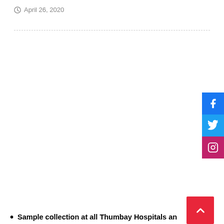April 26, 2020
[Figure (infographic): Social media share buttons: Facebook (blue), Twitter (light blue), Instagram (pink/magenta), stacked vertically on right edge]
[Figure (infographic): Red back-to-top button with upward chevron arrow, bottom right corner]
Sample collection at all Thumbay Hospitals an